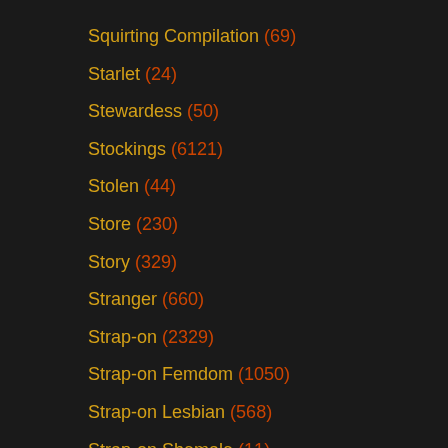Squirting Compilation (69)
Starlet (24)
Stewardess (50)
Stockings (6121)
Stolen (44)
Store (230)
Story (329)
Stranger (660)
Strap-on (2329)
Strap-on Femdom (1050)
Strap-on Lesbian (568)
Strap-on Shemale (11)
Street (702)
Stripper (2381)
Stripping (3750)